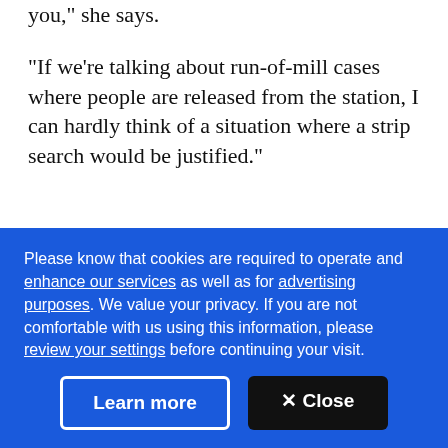you," she says.
"If we're talking about run-of-mill cases where people are released from the station, I can hardly think of a situation where a strip search would be justified."
Shikhman blames the problem on "complete ignorance of the law by Toronto police sergeants, who she says ignore the case-by-case approach that is mandated by their own policy manual and by the
Please know that cookies are required to operate and enhance our services as well as for advertising purposes. We value your privacy. If you are not comfortable with us using this information, please review your settings before continuing your visit.
Learn more
✕ Close